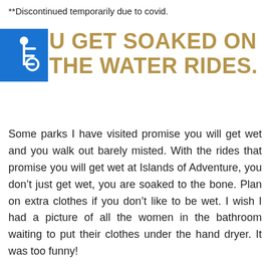**Discontinued temporarily due to covid.
YOU GET SOAKED ON THE WATER RIDES.
Some parks I have visited promise you will get wet and you walk out barely misted. With the rides that promise you will get wet at Islands of Adventure, you don’t just get wet, you are soaked to the bone. Plan on extra clothes if you don’t like to be wet. I wish I had a picture of all the women in the bathroom waiting to put their clothes under the hand dryer. It was too funny!